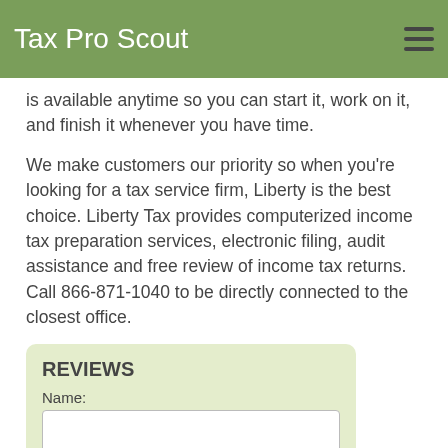Tax Pro Scout
is available anytime so you can start it, work on it, and finish it whenever you have time.
We make customers our priority so when you're looking for a tax service firm, Liberty is the best choice. Liberty Tax provides computerized income tax preparation services, electronic filing, audit assistance and free review of income tax returns. Call 866-871-1040 to be directly connected to the closest office.
REVIEWS
Name:
Email Address:
Review: